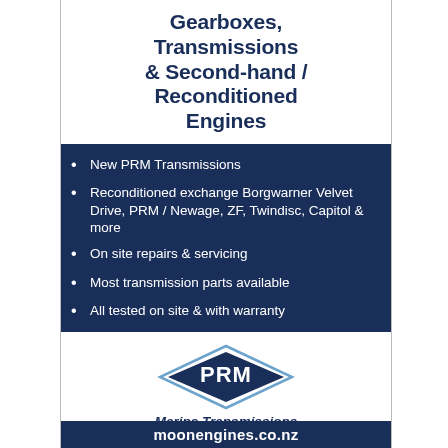Gearboxes, Transmissions & Second-hand / Reconditioned Engines
New PRM Transmissions
Reconditioned exchange Borgwarner Velvet Drive, PRM / Newage, ZF, Twindisc, Capitol & more
On site repairs & servicing
Most transmission parts available
All tested on site & with warranty
[Figure (logo): PRM diamond-shaped logo with text 'PRM' inside, and 'Marine Transmissions' text below with red underline]
Phone James Mobberley for a quote: (09) 828 3524
606 Rosebank Road, Avondale, Auckland. e: james@moonengines.co.nz
moonengines.co.nz